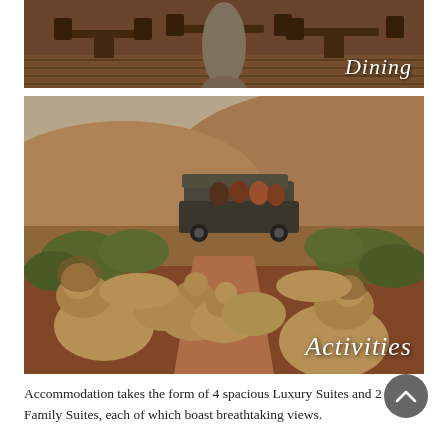[Figure (photo): Top photo of a dining area with wooden tables and chairs on a deck, warm brown tones. Label 'Dining' in white italic text at bottom right.]
[Figure (photo): Large photo of a pride of lions walking along a red dirt track toward the camera, with a safari game drive vehicle with passengers in the background, bush and hills. Label 'Activities' in white italic text at bottom right.]
Accommodation takes the form of 4 spacious Luxury Suites and 2 Family Suites, each of which boast breathtaking views.